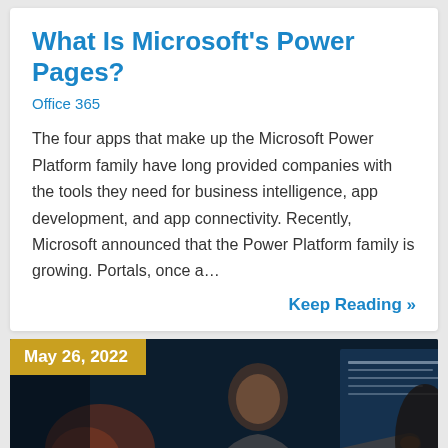What Is Microsoft's Power Pages?
Office 365
The four apps that make up the Microsoft Power Platform family have long provided companies with the tools they need for business intelligence, app development, and app connectivity. Recently, Microsoft announced that the Power Platform family is growing. Portals, once a…
Keep Reading »
May 26, 2022
[Figure (photo): A person wearing glasses presenting in front of a large screen, holding a tablet, in a dimly lit environment with blue tones.]